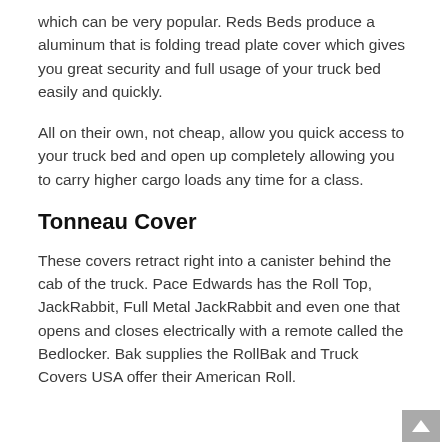which can be very popular. Reds Beds produce a aluminum that is folding tread plate cover which gives you great security and full usage of your truck bed easily and quickly.
All on their own, not cheap, allow you quick access to your truck bed and open up completely allowing you to carry higher cargo loads any time for a class.
Tonneau Cover
These covers retract right into a canister behind the cab of the truck. Pace Edwards has the Roll Top, JackRabbit, Full Metal JackRabbit and even one that opens and closes electrically with a remote called the Bedlocker. Bak supplies the RollBak and Truck Covers USA offer their American Roll.